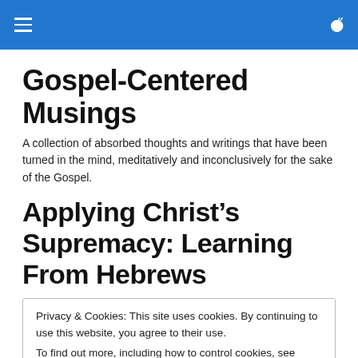Gospel-Centered Musings [navigation header with hamburger menu and search icon]
Gospel-Centered Musings
A collection of absorbed thoughts and writings that have been turned in the mind, meditatively and inconclusively for the sake of the Gospel.
Applying Christ's Supremacy: Learning From Hebrews
Privacy & Cookies: This site uses cookies. By continuing to use this website, you agree to their use.
To find out more, including how to control cookies, see here: Cookie Policy
[Close and accept button]
preaching. Preaching ought i) to adduce and proclaim